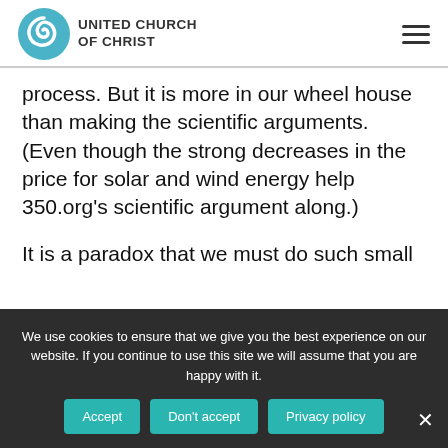[Figure (logo): United Church of Christ logo with teal spiral icon and bold text 'UNITED CHURCH OF CHRIST']
process.  But it is more in our wheel house than making the scientific arguments. (Even though the strong decreases in the price for solar and wind energy help 350.org's scientific argument along.)
It is a paradox that we must do such small
We use cookies to ensure that we give you the best experience on our website. If you continue to use this site we will assume that you are happy with it.